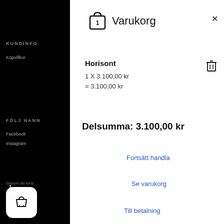KUNDINFO
Köpvillkor
Varukorg
Horisont
1 X 3.100,00 kr
= 3.100,00 kr
Delsumma: 3.100,00 kr
FÖLJ HANN
Facebook
Instagram
Genom att forts
Fortsätt handla
Se varukorg
Till betalning